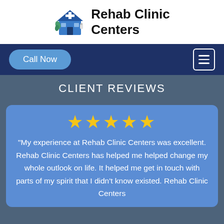[Figure (logo): Rehab Clinic Centers logo with a building/clinic illustration in blue]
Rehab Clinic Centers
Call Now
CLIENT REVIEWS
★★★★★
"My experience at Rehab Clinic Centers was excellent. Rehab Clinic Centers has helped me helped change my whole outlook on life. It helped me get in touch with parts of my spirit that I didn't know existed. Rehab Clinic Centers